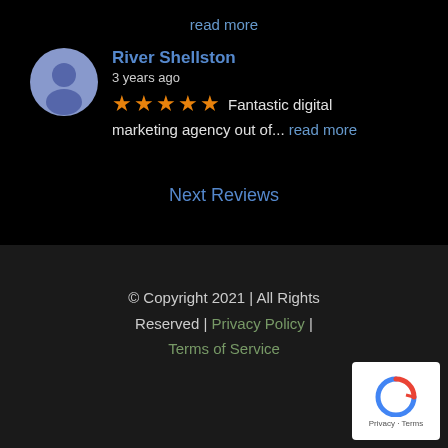read more
River Shellston
3 years ago
★★★★★ Fantastic digital marketing agency out of... read more
Next Reviews
© Copyright 2021 | All Rights Reserved | Privacy Policy | Terms of Service